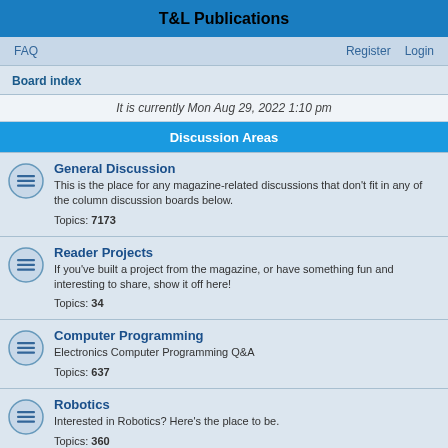T&L Publications
FAQ    Register    Login
Board index
It is currently Mon Aug 29, 2022 1:10 pm
Discussion Areas
General Discussion
This is the place for any magazine-related discussions that don't fit in any of the column discussion boards below.
Topics: 7173
Reader Projects
If you've built a project from the magazine, or have something fun and interesting to share, show it off here!
Topics: 34
Computer Programming
Electronics Computer Programming Q&A
Topics: 637
Robotics
Interested in Robotics? Here's the place to be.
Topics: 360
Projects & Kits
Get help with your Nuts & Volts projects or Kits purchased from Nuts & Volts here.
Topics: 60